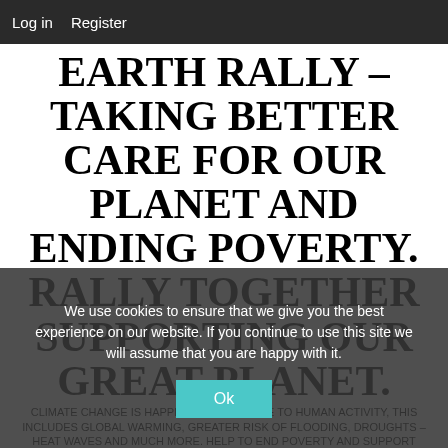Log in  Register
EARTH RALLY – TAKING BETTER CARE FOR OUR PLANET AND ENDING POVERTY. RALLY TOGETHER SUPPORTING OUR GREAT PLANET.
CLIMATE CHANGE IS HAPPENING AND IS DUE TO HUMAN ACTIVITY, THIS INCLUDES GLOBAL WARMING, GREATER RISK OF FLOODING, DROUGHTS – HEAT WAVES AND MUCH MORE. HELP TO END POVERTY AND SUPPORT DEVELOPEING COUNTRIES. THE PLACE WHERE LIKE-MINDED PEOPLE CO-OPERATE TO PROMOTE BETTER CARE OF THE PLANET VIA EDUCATION AND EXCHANGE OF SKILLS AND KNOWLEDGE. CLIMATE CHANGE HAPPENING DUE TO HUMAN ACTIVITY. BUSINESSES ARE NOT YOUR ENEMY BUT PART OF THE SOLUTION. LET US WORK HARD TOGETHER TO FIND A WAY TO PROTECT OUR PLANET.
We use cookies to ensure that we give you the best experience on our website. If you continue to use this site we will assume that you are happy with it.
Ok